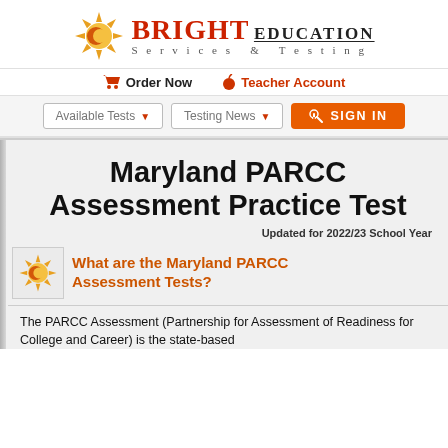[Figure (logo): Bright Education Services & Testing logo with sun/gear icon]
Order Now | Teacher Account
Available Tests ▼ | Testing News ▼ | SIGN IN
Maryland PARCC Assessment Practice Test
Updated for 2022/23 School Year
What are the Maryland PARCC Assessment Tests?
The PARCC Assessment (Partnership for Assessment of Readiness for College and Career) is the state-based...